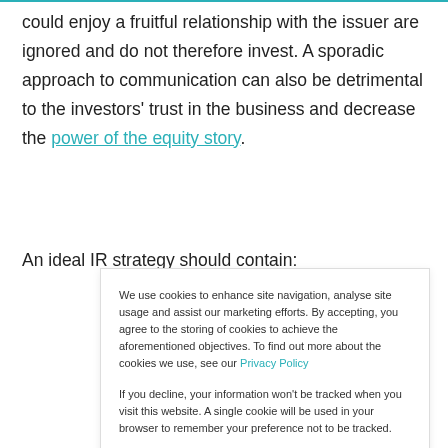could enjoy a fruitful relationship with the issuer are ignored and do not therefore invest. A sporadic approach to communication can also be detrimental to the investors' trust in the business and decrease the power of the equity story.
An ideal IR strategy should contain:
We use cookies to enhance site navigation, analyse site usage and assist our marketing efforts. By accepting, you agree to the storing of cookies to achieve the aforementioned objectives. To find out more about the cookies we use, see our Privacy Policy
If you decline, your information won't be tracked when you visit this website. A single cookie will be used in your browser to remember your preference not to be tracked.